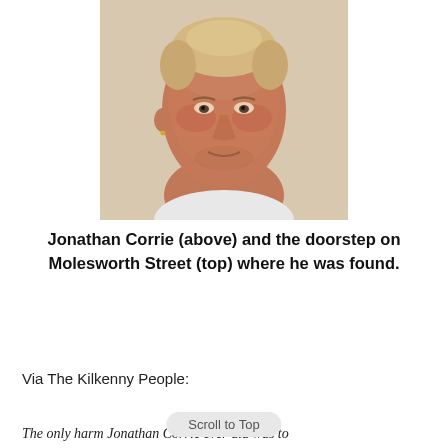[Figure (photo): Close-up photo of a man, Jonathan Corrie, with short light hair, slight stubble, and a small earring. Tan/reddish complexion against a light background.]
Jonathan Corrie (above) and the doorstep on Molesworth Street (top) where he was found.
Via The Kilkenny People:
The only harm Jonathan Corrie ever did was to